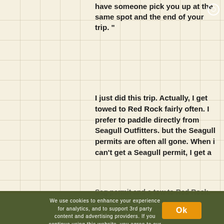have someone pick you up at the same spot and the end of your trip. "
I just did this trip. Actually, I get towed to Red Rock fairly often. I prefer to paddle directly from Seagull Outfitters. but the Seagull permits are often all gone. When i can't get a Seagull permit, I get a Sag permit and a tow to Red Rock.
We use cookies to enhance your experience for analytics, and to support 3rd party content and advertising providers. If you continue using this website, you agree to our privacy and legal agreement. Ok